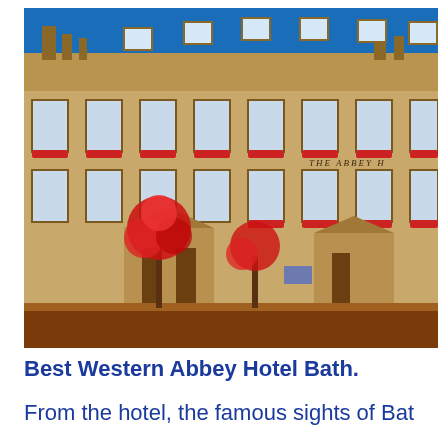[Figure (photo): Exterior photograph of Best Western Abbey Hotel Bath, showing a Georgian-style honey-coloured stone building with multiple floors of sash windows, red flower boxes, two entrance porticos, and flowering trees in the foreground against a blue sky.]
Best Western Abbey Hotel Bath.
From the hotel, the famous sights of Bat